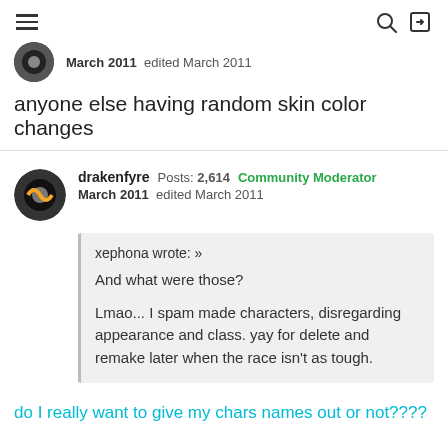Navigation bar with hamburger menu, search icon, and login icon
March 2011   edited March 2011
anyone else having random skin color changes
drakenfyre   Posts: 2,614   Community Moderator
March 2011   edited March 2011
xephona wrote: »
And what were those?

Lmao... I spam made characters, disregarding appearance and class. yay for delete and remake later when the race isn't as tough.
do I really want to give my chars names out or not????